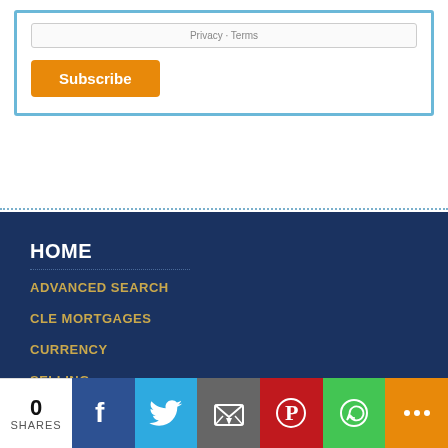[Figure (screenshot): Subscribe box with Privacy-Terms text and Subscribe button, inside a blue-bordered container]
HOME
ADVANCED SEARCH
CLE MORTGAGES
CURRENCY
SELLING
[Figure (infographic): Social share bar with 0 SHARES count, Facebook, Twitter, Email, Pinterest, WhatsApp, and More icons]